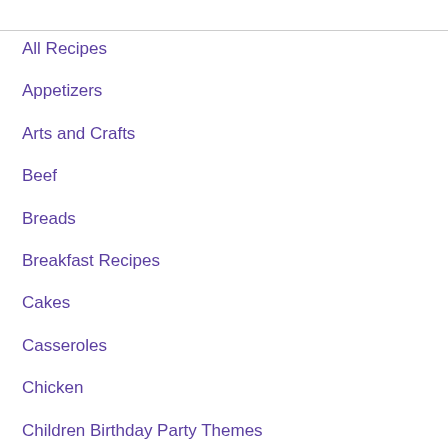All Recipes
Appetizers
Arts and Crafts
Beef
Breads
Breakfast Recipes
Cakes
Casseroles
Chicken
Children Birthday Party Themes
Cookies